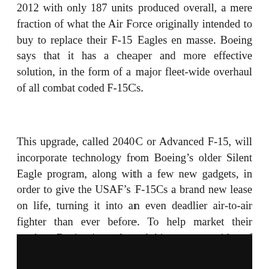2012 with only 187 units produced overall, a mere fraction of what the Air Force originally intended to buy to replace their F-15 Eagles en masse. Boeing says that it has a cheaper and more effective solution, in the form of a major fleet-wide overhaul of all combat coded F-15Cs.
This upgrade, called 2040C or Advanced F-15, will incorporate technology from Boeing's older Silent Eagle program, along with a few new gadgets, in order to give the USAF's F-15Cs a brand new lease on life, turning it into an even deadlier air-to-air fighter than ever before. To help market their product, Boeing just released this awesome video of Eagles with 2040C upgrades.
[Figure (photo): Dark/black image block at the bottom of the page, likely a video thumbnail or photo of aircraft]